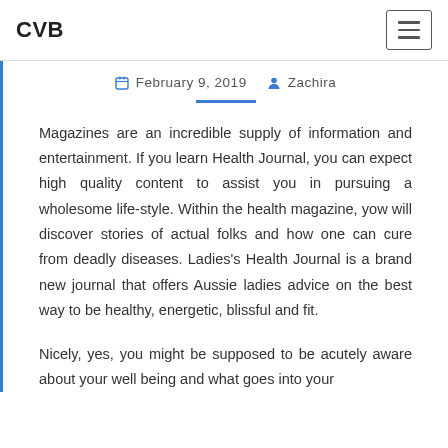CVB
February 9, 2019   Zachira
Magazines are an incredible supply of information and entertainment. If you learn Health Journal, you can expect high quality content to assist you in pursuing a wholesome life-style. Within the health magazine, yow will discover stories of actual folks and how one can cure from deadly diseases. Ladies's Health Journal is a brand new journal that offers Aussie ladies advice on the best way to be healthy, energetic, blissful and fit.
Nicely, yes, you might be supposed to be acutely aware about your well-being and what goes into your